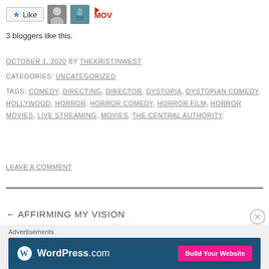[Figure (other): Like button with star icon and three avatar thumbnails (person, statue, MOVY logo)]
3 bloggers like this.
OCTOBER 1, 2020 BY THEKRISTINWEST
CATEGORIES: UNCATEGORIZED
TAGS: COMEDY, DIRECTING, DIRECTOR, DYSTOPIA, DYSTOPIAN COMEDY, HOLLYWOOD, HORROR, HORROR COMEDY, HORROR FILM, HORROR MOVIES, LIVE STREAMING, MOVIES, THE CENTRAL AUTHORITY
LEAVE A COMMENT
← AFFIRMING MY VISION
YOUR HALLOWEEN BLUE MOON TAROTSCOPE →
[Figure (other): WordPress.com advertisement banner with Build Your Website button]